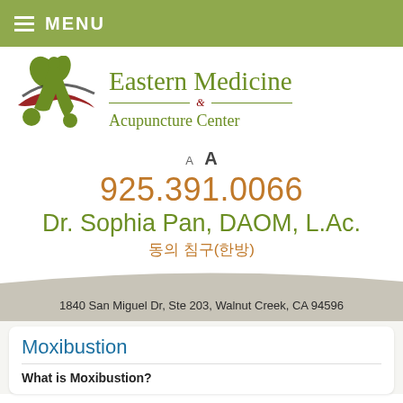MENU
[Figure (logo): Eastern Medicine & Acupuncture Center logo with stylized green figure and swirl graphic]
A  A
925.391.0066
Dr. Sophia Pan, DAOM, L.Ac.
동의 침구(한방)
1840 San Miguel Dr, Ste 203, Walnut Creek, CA 94596
Moxibustion
What is Moxibustion?